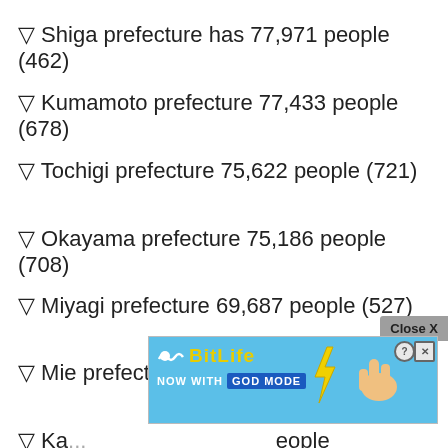▽ Shiga prefecture has 77,971 people (462)
▽ Kumamoto prefecture 77,433 people (678)
▽ Tochigi prefecture 75,622 people (721)
▽ Okayama prefecture 75,186 people (708)
▽ Miyagi prefecture 69,687 people (527)
▽ Mie prefecture 67,551 people ( 537)
▽ Ka... eople
[Figure (screenshot): Advertisement banner for BitLife game with 'NOW WITH GOD MODE' text, lightning bolt and hand graphic, on blue background. Close X button and help button visible.]